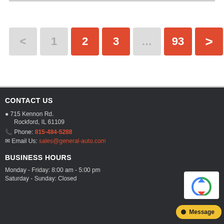[Figure (other): Pagination bar with buttons: back arrow (disabled), 1, 2 (active/red), 3 (active/red), ..., 93 (red), forward arrow (red)]
CONTACT US
715 Kennon Rd.
Rockford, IL 61109
Phone: 815-484-5288
Email Us: sales@general-auto.com
BUSINESS HOURS
Monday - Friday: 8:00 am - 5:00 pm
Saturday - Sunday: Closed